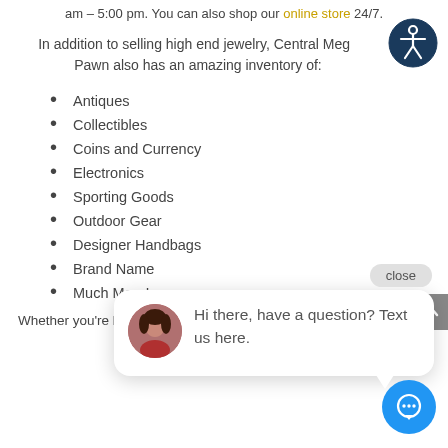am – 5:00 pm. You can also shop our online store 24/7.
In addition to selling high end jewelry, Central Mega Pawn also has an amazing inventory of:
Antiques
Collectibles
Coins and Currency
Electronics
Sporting Goods
Outdoor Gear
Designer Ha[ndbags]
Brand Name[...]
Much More!
Whether you're looking to pop the question, or for a gift
[Figure (other): Accessibility icon (person in circle) top right corner]
[Figure (other): Chat popup with avatar photo of woman, text: Hi there, have a question? Text us here. With close button and blue chat button at bottom right.]